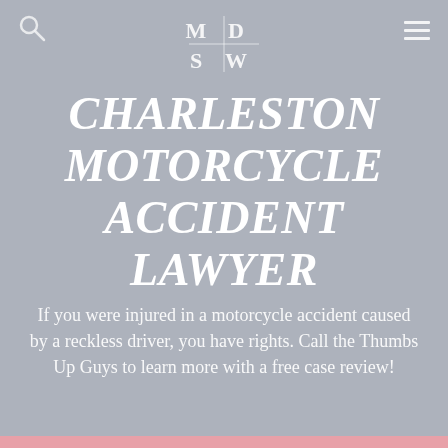[Figure (logo): MDSW law firm logo — four letters M, D, S, W arranged in a 2x2 grid separated by a cross/plus divider, in white serif font on gray background]
CHARLESTON MOTORCYCLE ACCIDENT LAWYER
If you were injured in a motorcycle accident caused by a reckless driver, you have rights. Call the Thumbs Up Guys to learn more with a free case review!